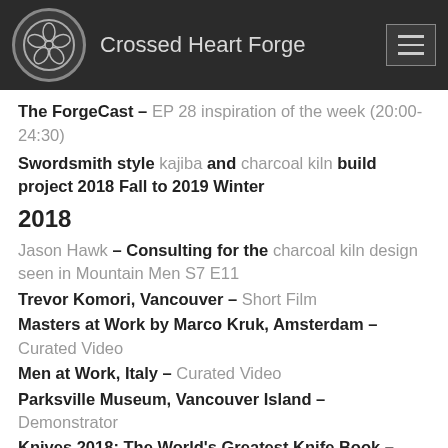Crossed Heart Forge
The ForgeCast – EP 28 inspiration of the week (20:00-24:30)
Swordsmith style kajiba and charcoal kiln build project 2018 Fall to 2019 Winter
2018
Jason Hawk – Consulting for the charcoal kiln design seen in Mountain Men S7 E11
Trevor Komori, Vancouver – Short Film
Masters at Work by Marco Kruk, Amsterdam – Curated Video
Men at Work, Italy – Curated Video
Parksville Museum, Vancouver Island – Demonstrator
Knives 2018: The World's Greatest Knife Book –